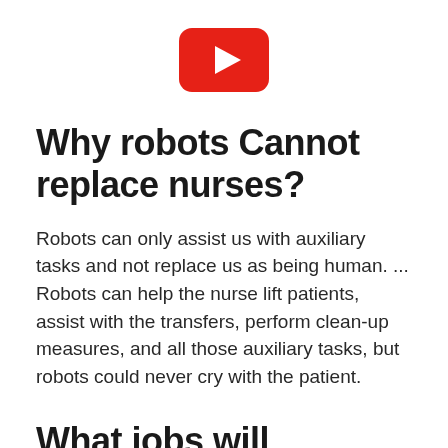[Figure (logo): YouTube logo - red rounded rectangle with white play triangle]
Why robots Cannot replace nurses?
Robots can only assist us with auxiliary tasks and not replace us as being human. ... Robots can help the nurse lift patients, assist with the transfers, perform clean-up measures, and all those auxiliary tasks, but robots could never cry with the patient.
What jobs will disappear by